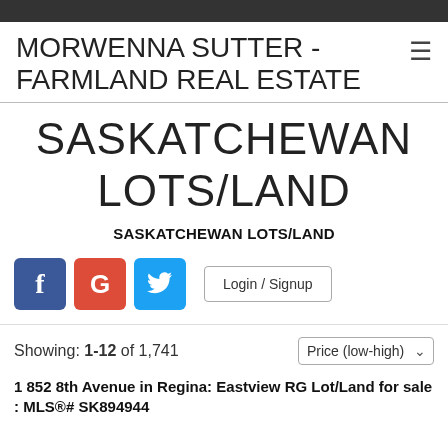MORWENNA SUTTER - FARMLAND REAL ESTATE
SASKATCHEWAN LOTS/LAND
SASKATCHEWAN LOTS/LAND
Showing: 1-12 of 1,741
1 852 8th Avenue in Regina: Eastview RG Lot/Land for sale : MLS®# SK894944